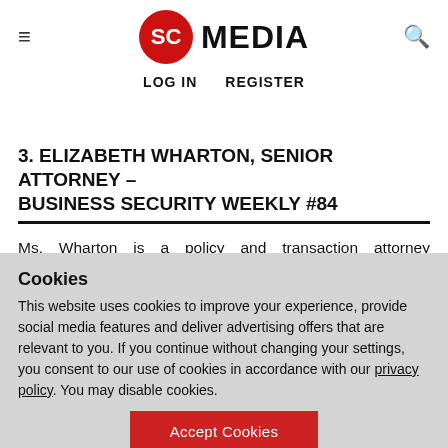SC MEDIA | LOG IN  REGISTER
3. ELIZABETH WHARTON, SENIOR ATTORNEY – BUSINESS SECURITY WEEKLY #84
Ms. Wharton is a policy and transaction attorney specializing in the development and scale of drone, smart city, autonomous vehicle, and other emerging technologies. She serves as a Senior Assistant City Attorney advising a major international airport and large metropolitan city on technology-related projects and public policy matters. She
Cookies
This website uses cookies to improve your experience, provide social media features and deliver advertising offers that are relevant to you. If you continue without changing your settings, you consent to our use of cookies in accordance with our privacy policy. You may disable cookies.
Accept Cookies